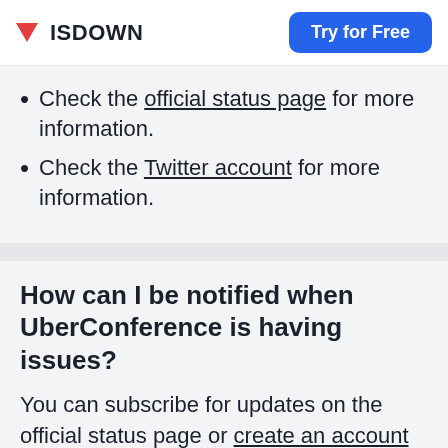ISDOWN | Try for Free
Check the official status page for more information.
Check the Twitter account for more information.
How can I be notified when UberConference is having issues?
You can subscribe for updates on the official status page or create an account in IsDown. We will send you a notification in real-time when